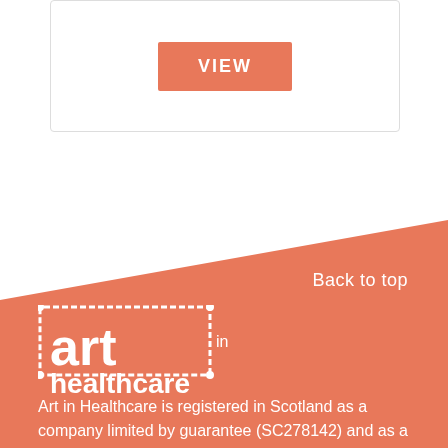[Figure (screenshot): A button labeled VIEW in white text on a salmon/coral colored rectangular button, inside a white card with border]
[Figure (logo): Art in Healthcare logo - white decorative frame with 'art in healthcare' text in white on salmon background]
Back to top
Art in Healthcare is registered in Scotland as a company limited by guarantee (SC278142) and as a